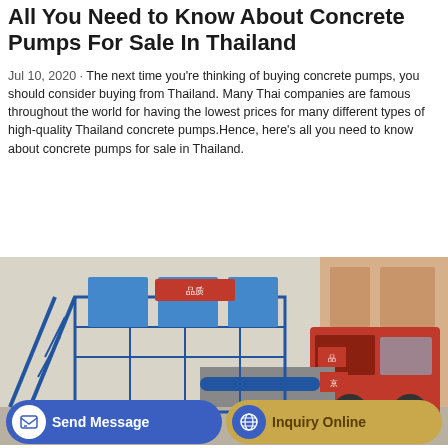All You Need to Know About Concrete Pumps For Sale In Thailand
Jul 10, 2020 · The next time you're thinking of buying concrete pumps, you should consider buying from Thailand. Many Thai companies are famous throughout the world for having the lowest prices for many different types of high-quality Thailand concrete pumps.Hence, here's all you need to know about concrete pumps for sale in Thailand.
GET A QUOTE
[Figure (photo): A blue concrete pump machine on a truck at an industrial site, with Chinese signage visible, parked near a warehouse.]
Send Message
Inquiry Online